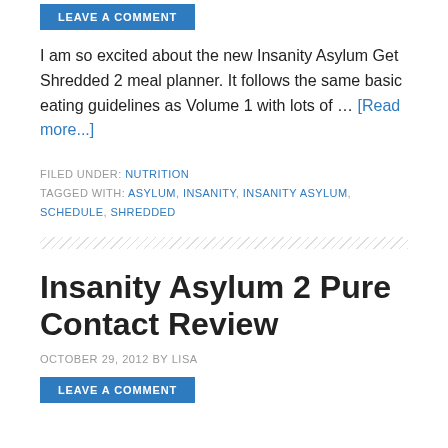LEAVE A COMMENT
I am so excited about the new Insanity Asylum Get Shredded 2 meal planner. It follows the same basic eating guidelines as Volume 1 with lots of … [Read more...]
FILED UNDER: NUTRITION
TAGGED WITH: ASYLUM, INSANITY, INSANITY ASYLUM, SCHEDULE, SHREDDED
Insanity Asylum 2 Pure Contact Review
OCTOBER 29, 2012 BY LISA
LEAVE A COMMENT